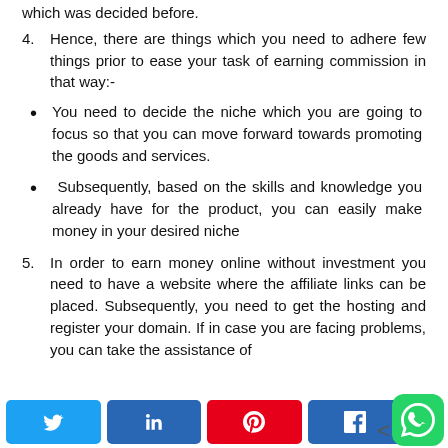which was decided before.
4.    Hence, there are things which you need to adhere few things prior to ease your task of earning commission in that way:-
You need to decide the niche which you are going to focus so that you can move forward towards promoting the goods and services.
Subsequently, based on the skills and knowledge you already have for the product, you can easily make money in your desired niche
5.    In order to earn money online without investment you need to have a website where the affiliate links can be placed. Subsequently, you need to get the hosting and register your domain. If in case you are facing problems, you can take the assistance of